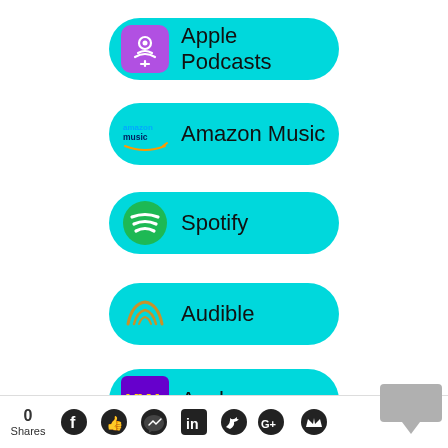[Figure (infographic): Apple Podcasts button with purple podcast icon on cyan/teal pill-shaped background]
[Figure (infographic): Amazon Music button with Amazon Music logo on cyan/teal pill-shaped background]
[Figure (infographic): Spotify button with green Spotify logo on cyan/teal pill-shaped background]
[Figure (infographic): Audible button with golden Audible logo on cyan/teal pill-shaped background]
[Figure (infographic): Anchor button with purple Anchor logo on cyan/teal pill-shaped background]
0 Shares  [Facebook] [Like] [Messenger] [LinkedIn] [Twitter] [Google+] [Crown]